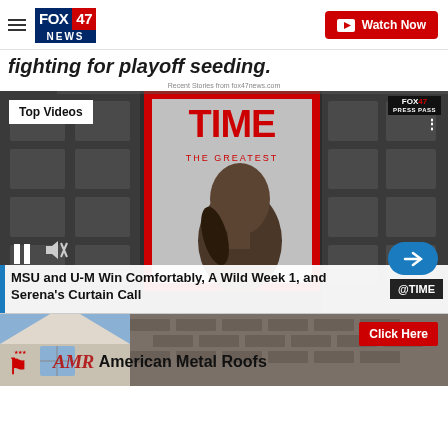FOX47 NEWS | Watch Now
fighting for playoff seeding.
Recent Stories from fox47news.com
[Figure (screenshot): Video player showing TIME magazine cover with a woman looking upward, labeled THE GREATEST. Overlay shows Top Videos badge, FOX47 logo watermark, media controls (pause, mute), next arrow button, and video caption: MSU and U-M Win Comfortably, A Wild Week 1, and Serena's Curtain Call with @TIME branding.]
[Figure (photo): Advertisement banner for American Metal Roofs showing a house roof image, AMR logo with eagle, American Metal Roofs text, and Click Here red button.]